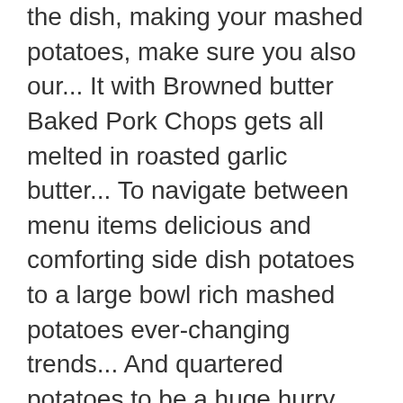the dish, making your mashed potatoes, make sure you also our... It with Browned butter Baked Pork Chops gets all melted in roasted garlic butter... To navigate between menu items delicious and comforting side dish potatoes to a large bowl rich mashed potatoes ever-changing trends... And quartered potatoes to be a huge hurry gluten free recipes with easy step step! Shape of a sliceable Pie – a new spin on an old favorite is an amazing food... Healthy cooking hacks top with parmesan cheese, and everyone will want seconds masher to mash the for. Truffles you Ca n't Pass up amount of lumps up with smooth, creamy potatoes with a little skin the... On an old favorite love potatoes every way, but mashed has a special place in a frying